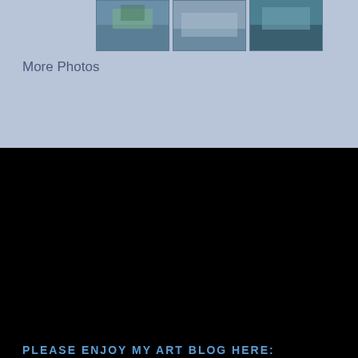[Figure (photo): Three thumbnail photos in a horizontal strip at the top of the page against a blue-grey background]
More Photos
PLEASE ENJOY MY ART BLOG HERE:
[Figure (illustration): Art blog promotional image with teal/dark blue background showing decorative text 'Light up your Life With Art' in gold ornate lettering with Christmas lights and pine cone decorations]